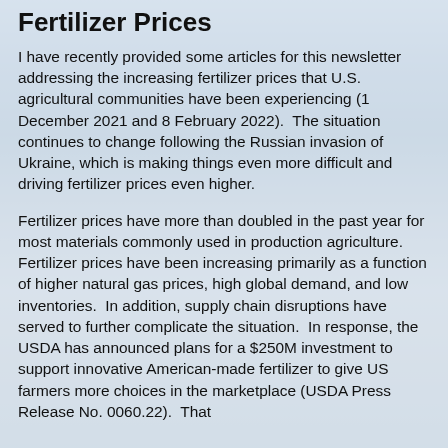Fertilizer Prices
I have recently provided some articles for this newsletter addressing the increasing fertilizer prices that U.S. agricultural communities have been experiencing (1 December 2021 and 8 February 2022).  The situation continues to change following the Russian invasion of Ukraine, which is making things even more difficult and driving fertilizer prices even higher.
Fertilizer prices have more than doubled in the past year for most materials commonly used in production agriculture.  Fertilizer prices have been increasing primarily as a function of higher natural gas prices, high global demand, and low inventories.  In addition, supply chain disruptions have served to further complicate the situation.  In response, the USDA has announced plans for a $250M investment to support innovative American-made fertilizer to give US farmers more choices in the marketplace (USDA Press Release No. 0060.22).  That